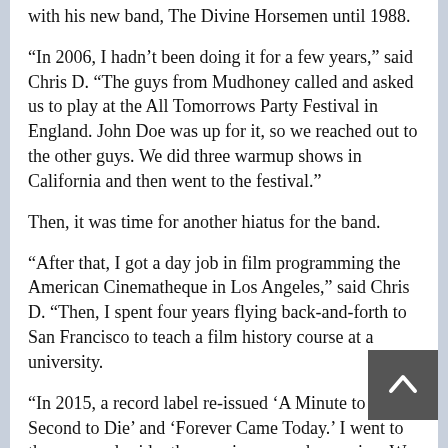with his new band, The Divine Horsemen until 1988.
“In 2006, I hadn’t been doing it for a few years,” said Chris D. “The guys from Mudhoney called and asked us to play at the All Tomorrows Party Festival in England. John Doe was up for it, so we reached out to the other guys. We did three warmup shows in California and then went to the festival.”
Then, it was time for another hiatus for the band.
“After that, I got a day job in film programming the American Cinematheque in Los Angeles,” said Chris D. “Then, I spent four years flying back-and-forth to San Francisco to teach a film history course at a university.
“In 2015, a record label re-issued ‘A Minute to Pray, a Second to Die’ and ‘Forever Came Today.’ I went to the guys and said – these re-issues are happening. We ended up doing five shows in January 2015 and then we did it again last January.
“We had enough material to make a new album. I brought it up to the guys and we went in the studio April last year. Within a week, Yep-Roc Records signed us without even hearing the record. Yep-Roc was really enthusiastic.”
Before long, the Flesh Eaters had their first new studio album in